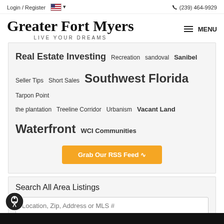Login / Register  🇺🇸 ▾  (239) 464-9929
Greater Fort Myers
LIVE YOUR DREAMS
Real Estate Investing  Recreation  sandoval  Sanibel  Seller Tips  Short Sales  Southwest Florida  Tarpon Point  the plantation  Treeline Corridor  Urbanism  Vacant Land  Waterfront  WCI Communities
Grab Our RSS Feed
Search All Area Listings
Location, Zip, Address or MLS #